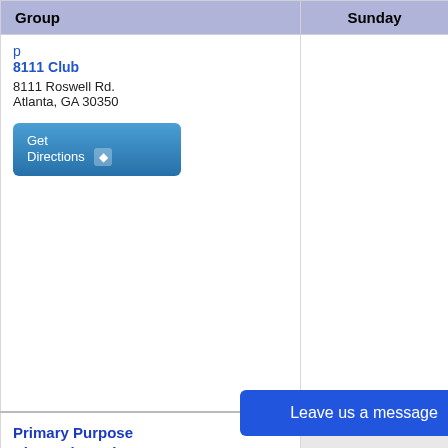| Group | Sunday | Monday | (truncated) |
| --- | --- | --- | --- |
| (partial link at top)
8111 Club
8111 Roswell Rd.
Atlanta, GA 30350
[Get Directions] |  |  |  |
| Primary Purpose Big Book Study Group
ZOOM MEETING
Atlanta, GA 30329
[Get Directions] |  |  | Z...
M...
P... |
| Primary Purpose Online Group
ZOOM MEETING |  | 12:00 PM 1hr
SS |  |
Leave us a message